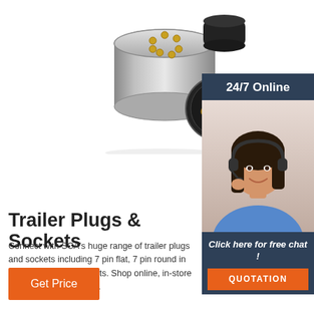[Figure (photo): Trailer plugs and sockets product photo — a chrome 7-pin round plug and a round socket connector on white background]
[Figure (photo): 24/7 Online customer service representative — woman with headset smiling, on dark navy banner]
Trailer Plugs & Sockets
Connect with SCA's huge range of trailer plugs and sockets including 7 pin flat, 7 pin round in female and male variants. Shop online, in-store or Click & Collect today.
[Figure (other): Click here for free chat! button with QUOTATION orange button]
[Figure (other): Get Price orange button]